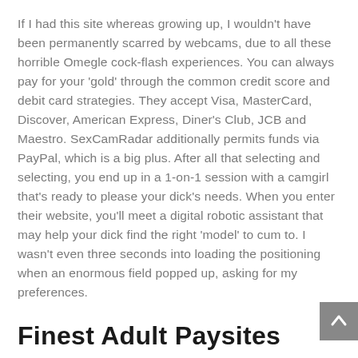If I had this site whereas growing up, I wouldn't have been permanently scarred by webcams, due to all these horrible Omegle cock-flash experiences. You can always pay for your 'gold' through the common credit score and debit card strategies. They accept Visa, MasterCard, Discover, American Express, Diner's Club, JCB and Maestro. SexCamRadar additionally permits funds via PayPal, which is a big plus. After all that selecting and selecting, you end up in a 1-on-1 session with a camgirl that's ready to please your dick's needs. When you enter their website, you'll meet a digital robotic assistant that may help your dick find the right 'model' to cum to. I wasn't even three seconds into loading the positioning when an enormous field popped up, asking for my preferences.
Finest Adult Paysites